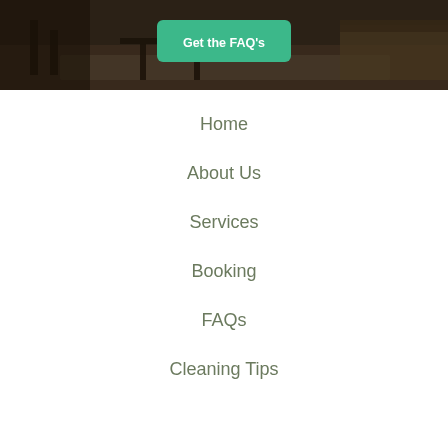[Figure (photo): Darkened interior photo of a living room with dark wooden chairs and tables on a light rug, with a green 'Get the FAQ's' button overlaid in the center]
Home
About Us
Services
Booking
FAQs
Cleaning Tips